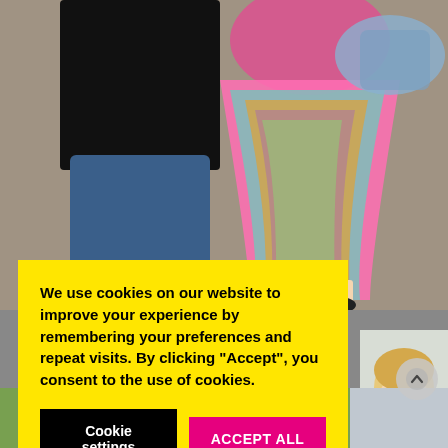[Figure (photo): Two people standing outdoors on gravel. One in black top and blue jeans, the other in a colorful tie-dye dress holding a denim jacket.]
We use cookies on our website to improve your experience by remembering your preferences and repeat visits. By clicking “Accept”, you consent to the use of cookies.
Cookie settings
ACCEPT ALL
[Figure (photo): Partial view of a young blonde person outdoors.]
[Figure (photo): Bottom strip showing partial faces/heads of people outdoors.]